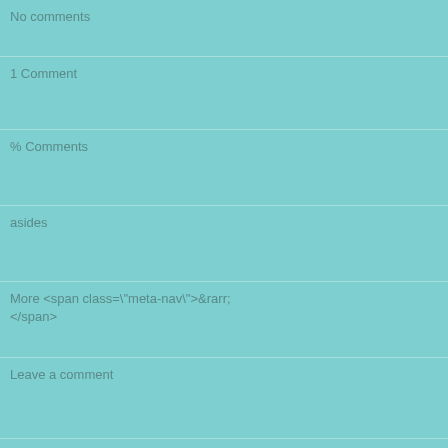No comments
1 Comment
% Comments
asides
More <span class="meta-nav">&rarr;
</span>
Leave a comment
<span class="%1$s">Categories:
</span> %2$s
More <span class="meta-nav">&rarr;